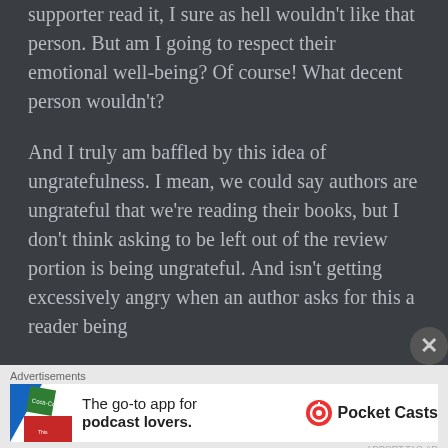supporter read it, I sure as hell wouldn't like that person. But am I going to respect their emotional well-being? Of course! What decent person wouldn't?
And I truly am baffled by this idea of ungratefulness. I mean, we could say authors are ungrateful that we're reading their books, but I don't think asking to be left out of the review portion is being ungrateful. And isn't getting excessively angry when an author asks for this a reader being
Advertisements
[Figure (infographic): Pocket Casts advertisement banner: colorful app icon on left, text 'The go-to app for podcast lovers.' with Pocket Casts logo and brand name on right]